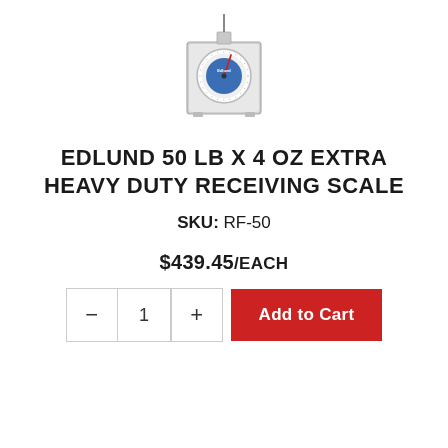[Figure (photo): Product photo of Edlund 50 lb x 4 oz Extra Heavy Duty Receiving Scale, a square silver mechanical scale with a round dial face showing numbers and a red pointer needle, on a white background.]
EDLUND 50 LB X 4 OZ EXTRA HEAVY DUTY RECEIVING SCALE
SKU: RF-50
$439.45/EACH
- 1 + Add to Cart